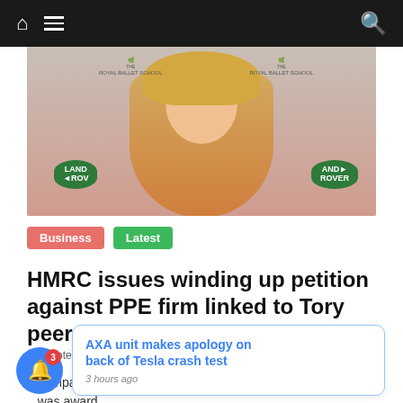Navigation bar with home, menu, and search icons
[Figure (photo): Woman with blonde hair wearing red dress at Royal Ballet School event with Land Rover sponsorship logos]
Business  Latest
HMRC issues winding up petition against PPE firm linked to Tory peer Mone
September 2, 2022  Admin  0
A company linked ... was awarded ... acts during
AXA unit makes apology on back of Tesla crash test  3 hours ago